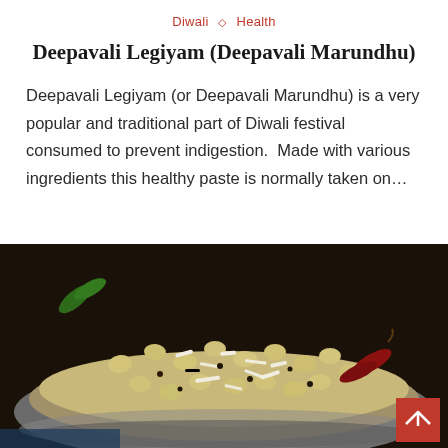Diwali ◇ Health
Deepavali Legiyam (Deepavali Marundhu)
Deepavali Legiyam (or Deepavali Marundhu) is a very popular and traditional part of Diwali festival consumed to prevent indigestion.  Made with various ingredients this healthy paste is normally taken on…
[Figure (photo): Close-up photo of a metal bowl containing cowpeas/legumes mixed with grated coconut, dried red chili, and other spices — a traditional South Indian dish (Deepavali Legiyam / Marundhu).]